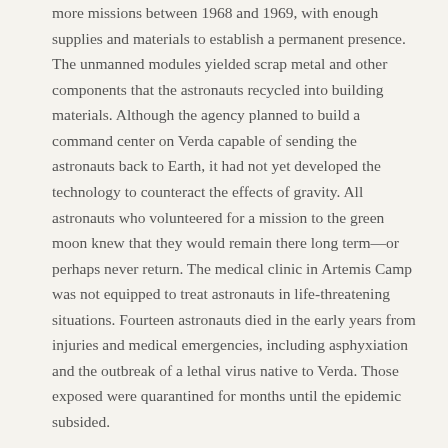more missions between 1968 and 1969, with enough supplies and materials to establish a permanent presence. The unmanned modules yielded scrap metal and other components that the astronauts recycled into building materials. Although the agency planned to build a command center on Verda capable of sending the astronauts back to Earth, it had not yet developed the technology to counteract the effects of gravity. All astronauts who volunteered for a mission to the green moon knew that they would remain there long term—or perhaps never return. The medical clinic in Artemis Camp was not equipped to treat astronauts in life-threatening situations. Fourteen astronauts died in the early years from injuries and medical emergencies, including asphyxiation and the outbreak of a lethal virus native to Verda. Those exposed were quarantined for months until the epidemic subsided.
In late 1968, the Soviets successfully landed the Novaya Zemlya I rocket on the far side of Verda, more than 1,000 miles from the Artemis site. They established